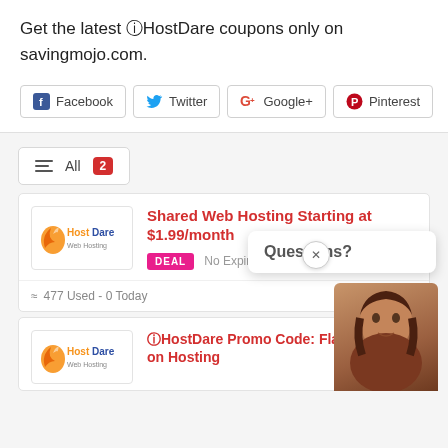Get the latest ⓘHostDare coupons only on savingmojo.com.
[Figure (other): Social share buttons: Facebook, Twitter, Google+, Pinterest]
[Figure (infographic): Filter bar with lines icon, All label, and badge count of 2]
[Figure (logo): HostDare logo - orange flame with text HostDare]
Shared Web Hosting Starting at $1.99/month
DEAL  No Expires
477 Used - 0 Today
[Figure (logo): HostDare logo - second card]
ⓘHostDare Promo Code: Flat 10% on Hosting
[Figure (photo): Chat support avatar - woman with brown hair, Questions? popup overlay]